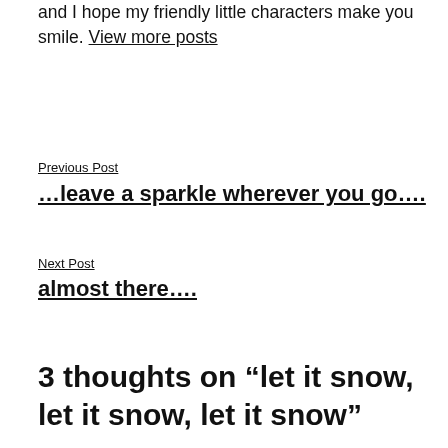and I hope my friendly little characters make you smile. View more posts
Previous Post
…leave a sparkle wherever you go….
Next Post
almost there….
3 thoughts on “let it snow, let it snow, let it snow”